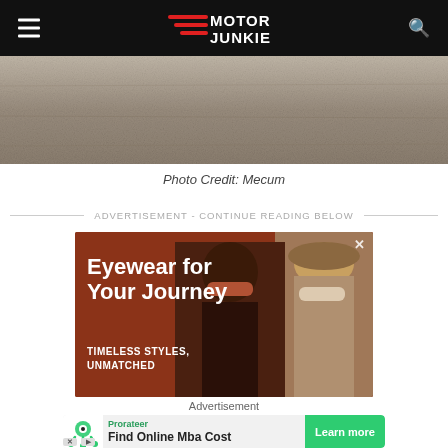Motor Junkie
[Figure (photo): Close-up photo of rough concrete or asphalt surface texture]
Photo Credit: Mecum
ADVERTISEMENT - CONTINUE READING BELOW
[Figure (photo): Advertisement banner: Eyewear for Your Journey - TIMELESS STYLES, UNMATCHED... Shows two women wearing sunglasses on a rust/brown background]
Advertisement
[Figure (photo): Bottom ad strip: Prorateer - Find Online Mba Cost - Learn more button, with green robot icon]